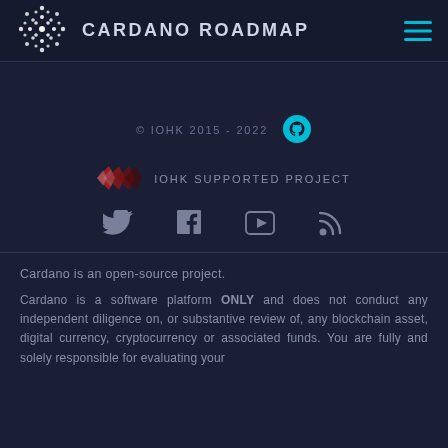CARDANO ROADMAP
[Figure (logo): Cardano dot-matrix logo (white dots on dark background)]
© IOHK 2015 - 2022
[Figure (logo): GitHub icon (teal circle with cat silhouette)]
[Figure (logo): IOHK logo (red/dark wing shapes)]
IOHK SUPPORTED PROJECT
[Figure (infographic): Social media icons row: Twitter, Facebook, YouTube, RSS]
Cardano is an open-source project.
Cardano is a software platform ONLY and does not conduct any independent diligence on, or substantive review of, any blockchain asset, digital currency, cryptocurrency or associated funds. You are fully and solely responsible for evaluating your investments, for determining whether you will exchange blockchain assets based on your own judgment, and for all your decisions as to whether to exchange blockchain assets with Cardano.